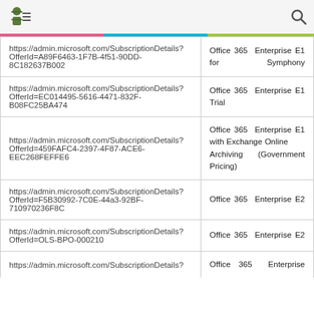[menu icon] [search icon]
| URL | Product Name |
| --- | --- |
| https://admin.microsoft.com/SubscriptionDetails?OfferId=A89F6463-1F7B-4f51-90DD-8C182637B002 | Office 365 Enterprise E1 for Symphony |
| https://admin.microsoft.com/SubscriptionDetails?OfferId=EC014495-5616-4471-832F-B08FC25BA474 | Office 365 Enterprise E1 Trial |
| https://admin.microsoft.com/SubscriptionDetails?OfferId=459FAFC4-2397-4F87-ACE6-EEC268FEFFE6 | Office 365 Enterprise E1 with Exchange Online Archiving (Government Pricing) |
| https://admin.microsoft.com/SubscriptionDetails?OfferId=F5B30992-7C0E-44a3-92BF-710970236F8C | Office 365 Enterprise E2 |
| https://admin.microsoft.com/SubscriptionDetails?OfferId=OLS-BPO-000210 | Office 365 Enterprise E2 |
| https://admin.microsoft.com/SubscriptionDetails? | Office 365 Enterprise |